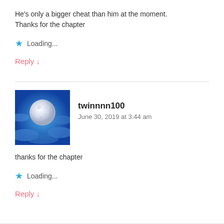He's only a bigger cheat than him at the moment.
Thanks for the chapter
★ Loading...
Reply ↓
[Figure (photo): Avatar image showing a full moon against a blue cloudy night sky]
twinnnn100
June 30, 2019 at 3:44 am
thanks for the chapter
★ Loading...
Reply ↓